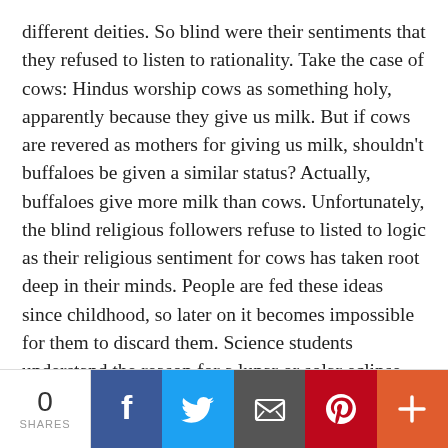different deities. So blind were their sentiments that they refused to listen to rationality. Take the case of cows: Hindus worship cows as something holy, apparently because they give us milk. But if cows are revered as mothers for giving us milk, shouldn't buffaloes be given a similar status? Actually, buffaloes give more milk than cows. Unfortunately, the blind religious followers refuse to listed to logic as their religious sentiment for cows has taken root deep in their minds. People are fed these ideas since childhood, so later on it becomes impossible for them to discard them. Science students understand the reason for a lunar or solar eclipse. They know that the eclipse does not occur because the sun or moon has been devoured by the mythological demons Ra´hu and Ketu (Umbra and Penumbra). Yet due to the deep rooted Sam ´skaras in the mind, they rush to take a holy bath in the Ganges during the eclipse. This is the result of blind faith.
0 SHARES | Facebook | Twitter | Email | Pinterest | Plus